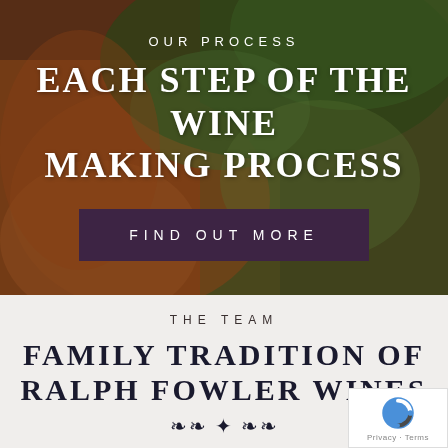[Figure (photo): Close-up photo of hands holding grape vine leaves, warm earthy tones with green leaves, serving as hero background image for a winery website.]
OUR PROCESS
EACH STEP OF THE WINE MAKING PROCESS
FIND OUT MORE
THE TEAM
FAMILY TRADITION OF RALPH FOWLER WINES
Ralph Fowler Wines is an Australian company owned operated by the Fowler family. Ralph Fowler Wines is managed